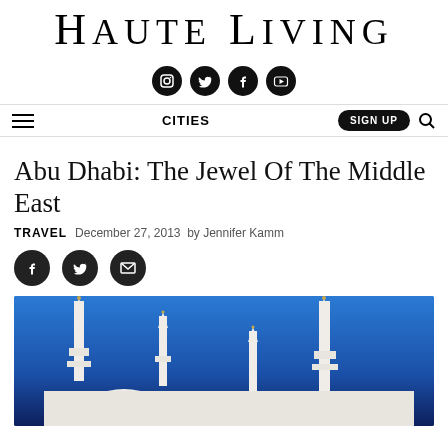Haute Living
[Figure (other): Social media icons: Instagram, Twitter, Facebook, YouTube]
CITIES | SIGN UP
Abu Dhabi: The Jewel Of The Middle East
TRAVEL  December 27, 2013  by Jennifer Kamm
[Figure (other): Share icons: Facebook, Twitter, Email]
[Figure (photo): Photo of Sheikh Zayed Grand Mosque minarets and domes against a deep blue sky]